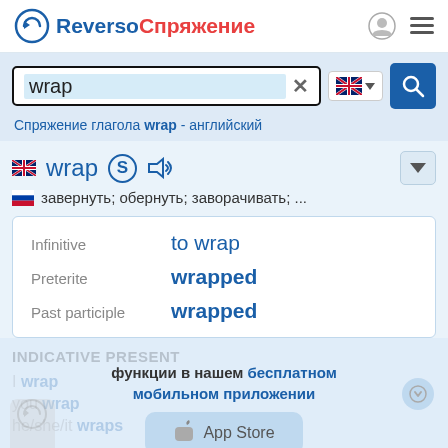Reverso Спряжение
wrap
Спряжение глагола wrap - английский
wrap   завернуть; обернуть; заворачивать; ...
| Form | Value |
| --- | --- |
| Infinitive | to wrap |
| Preterite | wrapped |
| Past participle | wrapped |
INDICATIVE PRESENT
функции в нашем бесплатном мобильном приложении
I wrap
you wrap
he/she/it wraps